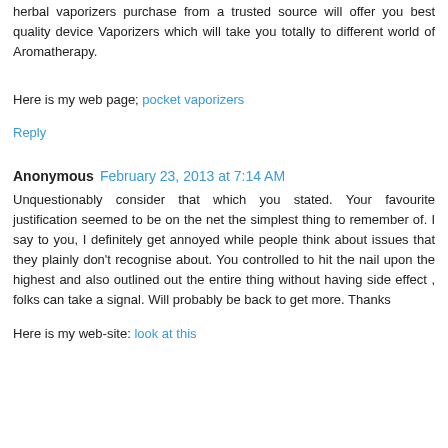herbal vaporizers purchase from a trusted source will offer you best quality device Vaporizers which will take you totally to different world of Aromatherapy.
Here is my web page; pocket vaporizers
Reply
Anonymous  February 23, 2013 at 7:14 AM
Unquestionably consider that which you stated. Your favourite justification seemed to be on the net the simplest thing to remember of. I say to you, I definitely get annoyed while people think about issues that they plainly don't recognise about. You controlled to hit the nail upon the highest and also outlined out the entire thing without having side effect , folks can take a signal. Will probably be back to get more. Thanks
Here is my web-site: look at this